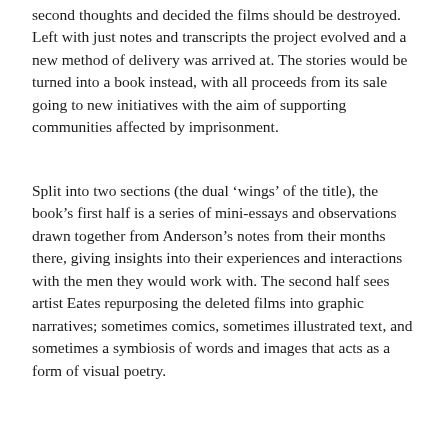second thoughts and decided the films should be destroyed. Left with just notes and transcripts the project evolved and a new method of delivery was arrived at. The stories would be turned into a book instead, with all proceeds from its sale going to new initiatives with the aim of supporting communities affected by imprisonment.
Split into two sections (the dual ‘wings’ of the title), the book’s first half is a series of mini-essays and observations drawn together from Anderson’s notes from their months there, giving insights into their experiences and interactions with the men they would work with. The second half sees artist Eates repurposing the deleted films into graphic narratives; sometimes comics, sometimes illustrated text, and sometimes a symbiosis of words and images that acts as a form of visual poetry.